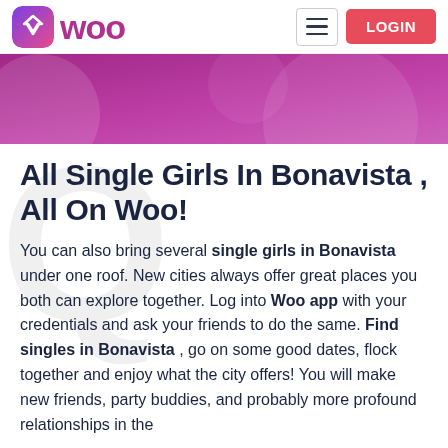Woo — LOGIN
[Figure (illustration): Purple/pink gradient banner with circular decorative elements]
All Single Girls In Bonavista , All On Woo!
You can also bring several single girls in Bonavista under one roof. New cities always offer great places you both can explore together. Log into Woo app with your credentials and ask your friends to do the same. Find singles in Bonavista , go on some good dates, flock together and enjoy what the city offers! You will make new friends, party buddies, and probably more profound relationships in the long run! Who knows?